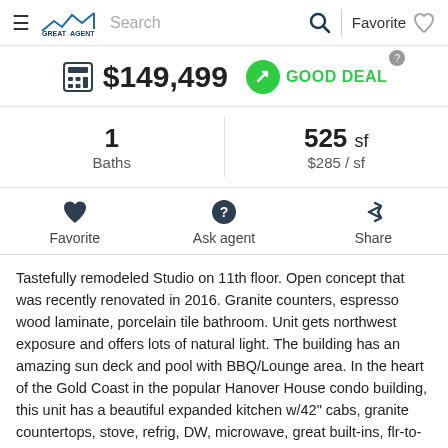GREATAGENT — Search | Favorite
$149,499 GOOD DEAL
1 Baths | 525 sf | $285 / sf
Favorite | Ask agent | Share
Tastefully remodeled Studio on 11th floor. Open concept that was recently renovated in 2016. Granite counters, espresso wood laminate, porcelain tile bathroom. Unit gets northwest exposure and offers lots of natural light. The building has an amazing sun deck and pool with BBQ/Lounge area. In the heart of the Gold Coast in the popular Hanover House condo building, this unit has a beautiful expanded kitchen w/42" cabs, granite countertops, stove, refrig, DW, microwave, great built-ins, flr-to-ceiling bay windows, 24hr drmn, indoor garage parking available. Walk-in to lake, beach, park,